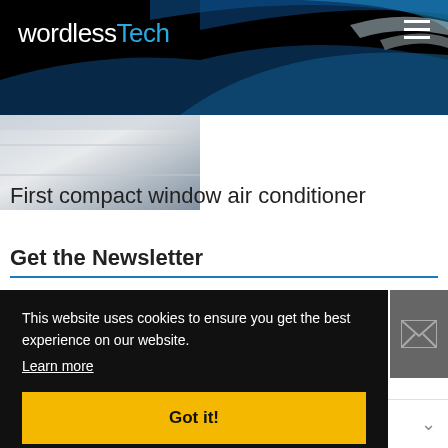wordlessTech
[Figure (photo): Partial view of an air conditioner unit, grey/silver surface]
First compact window air conditioner
Get the Newsletter
This website uses cookies to ensure you get the best experience on our website.
Learn more
Got it!